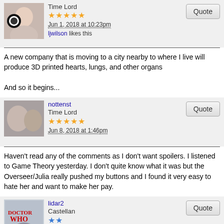Time Lord
★★★★★
Jun 1, 2018 at 10:23pm
ljwilson likes this
A new company that is moving to a city nearby to where I live will produce 3D printed hearts, lungs, and other organs

And so it begins...
nottenst
Time Lord
★★★★★
Jun 8, 2018 at 1:46pm
Haven't read any of the comments as I don't want spoilers. I listened to Game Theory yesterday. I don't quite know what it was but the Overseer/Julia really pushed my buttons and I found it very easy to hate her and want to make her pay.
lidar2
Castellan
★★
Jun 8, 2018 at 3:23pm
Whovitt likes this